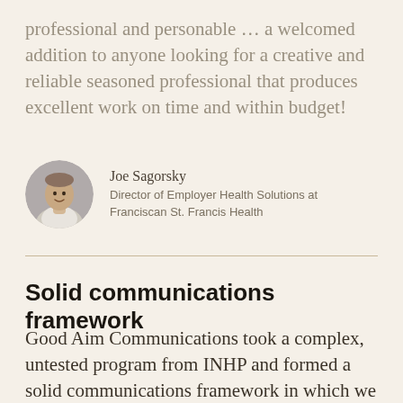professional and personable … a welcomed addition to anyone looking for a creative and reliable seasoned professional that produces excellent work on time and within budget!
Joe Sagorsky
Director of Employer Health Solutions at Franciscan St. Francis Health
[Figure (photo): Circular avatar photo of Joe Sagorsky, a man in professional attire with a neutral background]
Solid communications framework
Good Aim Communications took a complex, untested program from INHP and formed a solid communications framework in which we could gain results. Aimee had the requisite